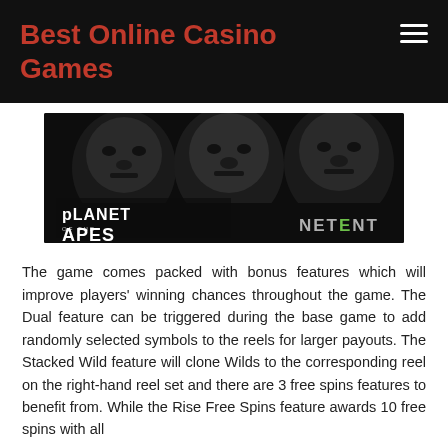Best Online Casino Games
[Figure (photo): Planet of the Apes slot game banner image showing three apes faces in dark cinematic lighting, with 'Planet of the Apes' logo on the left and 'NETENT' logo on the right.]
The game comes packed with bonus features which will improve players' winning chances throughout the game. The Dual feature can be triggered during the base game to add randomly selected symbols to the reels for larger payouts. The Stacked Wild feature will clone Wilds to the corresponding reel on the right-hand reel set and there are 3 free spins features to benefit from. While the Rise Free Spins feature awards 10 free spins with all